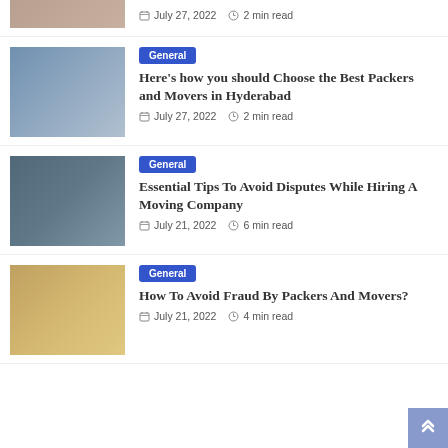[Figure (photo): Partial photo of movers with boxes, top of page]
July 27, 2022  2 min read
General | Here's how you should Choose the Best Packers and Movers in Hyderabad | July 27, 2022 | 2 min read
General | Essential Tips To Avoid Disputes While Hiring A Moving Company | July 21, 2022 | 6 min read
General | How To Avoid Fraud By Packers And Movers? | July 21, 2022 | 4 min read